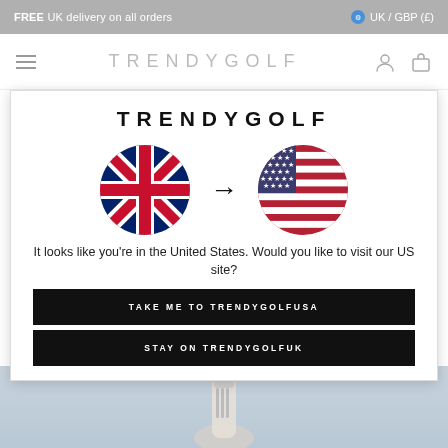FREE UK delivery on all orders    UK / GBP (£)
[Figure (screenshot): TrendyGolf website navigation bar with hamburger menu, TRENDYGOLF logo, and user/cart icons]
[Figure (screenshot): Modal dialog with TRENDYGOLF logo, UK flag to US flag with arrow, geo-redirect message and two buttons: TAKE ME TO TRENDYGOLFUSA and STAY ON TRENDYGOLFUK]
It looks like you're in the United States. Would you like to visit our US site?
TAKE ME TO TRENDYGOLFUSA
STAY ON TRENDYGOLFUK
[Figure (photo): Partial view of golf bag on light blue background at bottom of page]